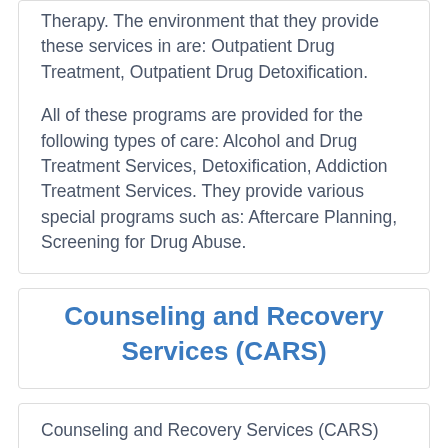Therapy. The environment that they provide these services in are: Outpatient Drug Treatment, Outpatient Drug Detoxification.

All of these programs are provided for the following types of care: Alcohol and Drug Treatment Services, Detoxification, Addiction Treatment Services. They provide various special programs such as: Aftercare Planning, Screening for Drug Abuse.
Counseling and Recovery Services (CARS)
Counseling and Recovery Services (CARS)